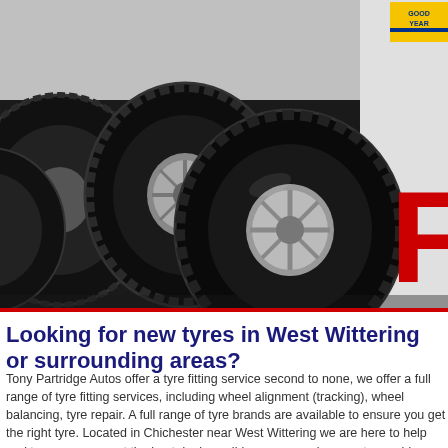[Figure (photo): Photo of multiple car tyres stacked/grouped together with a Goodyear logo in the top right corner and a large red letter F on the right side of the banner image]
Looking for new tyres in West Wittering or surrounding areas?
Tony Partridge Autos offer a tyre fitting service second to none, we offer a full range of tyre fitting services, including wheel alignment (tracking), wheel balancing, tyre repair. A full range of tyre brands are available to ensure you get the right tyre. Located in Chichester near West Wittering we are here to help and to ensure you get the best deal possible, you can rely on us to provide a professional , full service at the best rates available, rarely beaten on price.
We have been changing car tyres for years making us experts in which size and type you may need. We offer our tyre service in the West Wittering area to all makes and models of vehicle. We specialise in 4x4 tyres and it is rare that our prices including fitting can be beaten.